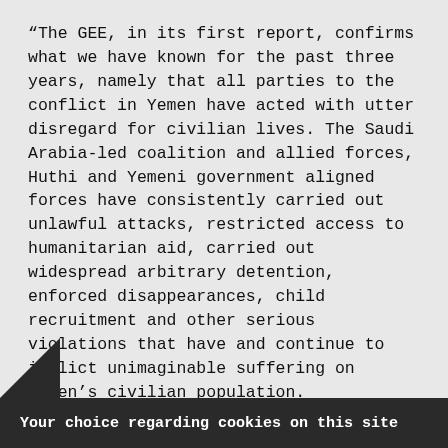“The GEE, in its first report, confirms what we have known for the past three years, namely that all parties to the conflict in Yemen have acted with utter disregard for civilian lives. The Saudi Arabia-led coalition and allied forces, Huthi and Yemeni government aligned forces have consistently carried out unlawful attacks, restricted access to humanitarian aid, carried out widespread arbitrary detention, enforced disappearances, child recruitment and other serious violations that have and continue to inflict unimaginable suffering on Yemen’s civilian population.
“Scrutiny and strong action from the international community are more crucial than ever. The USA, UK and other states should do everything in their power to end further violations and hold all…
Your choice regarding cookies on this site